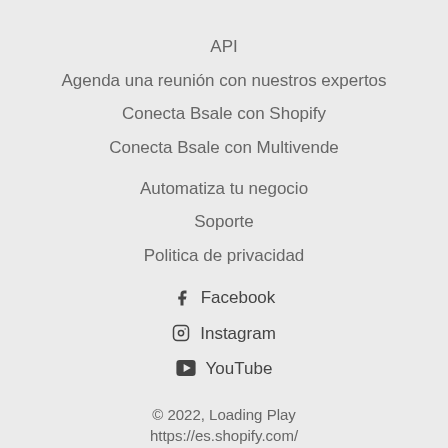API
Agenda una reunión con nuestros expertos
Conecta Bsale con Shopify
Conecta Bsale con Multivende
Automatiza tu negocio
Soporte
Politica de privacidad
Facebook
Instagram
YouTube
© 2022, Loading Play
https://es.shopify.com/